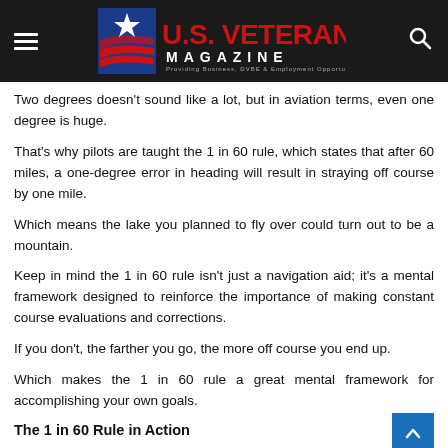U.S. Veterans Magazine — Providing Business, DVBE & Employment Opportunities
Two degrees doesn't sound like a lot, but in aviation terms, even one degree is huge.
That's why pilots are taught the 1 in 60 rule, which states that after 60 miles, a one-degree error in heading will result in straying off course by one mile.
Which means the lake you planned to fly over could turn out to be a mountain.
Keep in mind the 1 in 60 rule isn't just a navigation aid; it's a mental framework designed to reinforce the importance of making constant course evaluations and corrections.
If you don't, the farther you go, the more off course you end up.
Which makes the 1 in 60 rule a great mental framework for accomplishing your own goals.
The 1 in 60 Rule in Action
We all have dreams. The people who accomplish their dreams